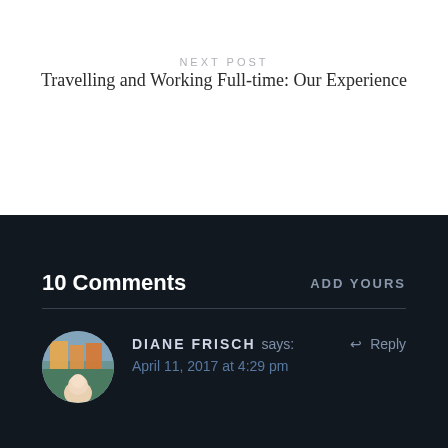NEXT POST
Travelling and Working Full-time: Our Experience
10 Comments
ADD YOURS
DIANE FRISCH says:
April 11, 2017 at 4:29 pm
Reply